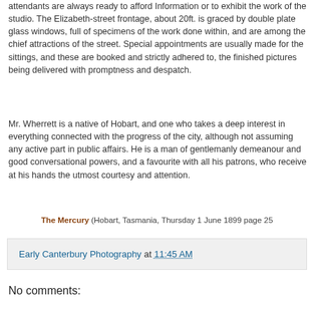attendants are always ready to afford Information or to exhibit the work of the studio. The Elizabeth-street frontage, about 20ft. is graced by double plate glass windows, full of specimens of the work done within, and are among the chief attractions of the street. Special appointments are usually made for the sittings, and these are booked and strictly adhered to, the finished pictures being delivered with promptness and despatch.
Mr. Wherrett is a native of Hobart, and one who takes a deep interest in everything connected with the progress of the city, although not assuming any active part in public affairs. He is a man of gentlemanly demeanour and good conversational powers, and a favourite with all his patrons, who receive at his hands the utmost courtesy and attention.
The Mercury (Hobart, Tasmania, Thursday 1 June 1899 page 25
Early Canterbury Photography at 11:45 AM
No comments: